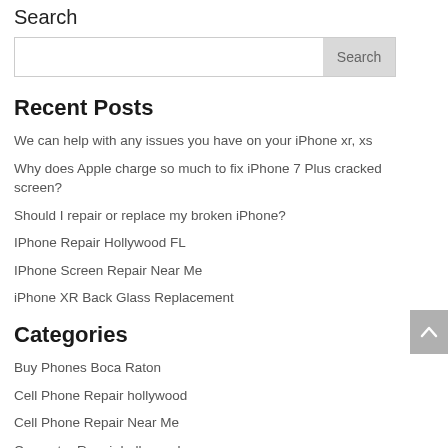Search
Search
Recent Posts
We can help with any issues you have on your iPhone xr, xs
Why does Apple charge so much to fix iPhone 7 Plus cracked screen?
Should I repair or replace my broken iPhone?
IPhone Repair Hollywood FL
IPhone Screen Repair Near Me
iPhone XR Back Glass Replacement
Categories
Buy Phones Boca Raton
Cell Phone Repair hollywood
Cell Phone Repair Near Me
Computer Repair hollywood